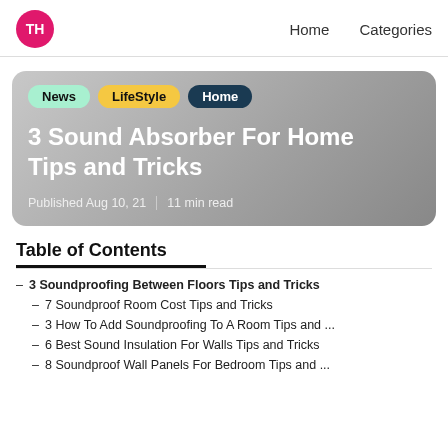TH | Home  Categories
[Figure (infographic): Hero card with tags (News, LifeStyle, Home), article title '3 Sound Absorber For Home Tips and Tricks', and metadata 'Published Aug 10, 21 | 11 min read']
Table of Contents
3 Soundproofing Between Floors Tips and Tricks
7 Soundproof Room Cost Tips and Tricks
3 How To Add Soundproofing To A Room Tips and ...
6 Best Sound Insulation For Walls Tips and Tricks
8 Soundproof Wall Panels For Bedroom Tips and ...